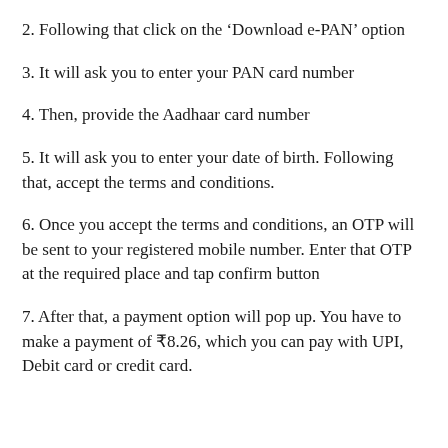2. Following that click on the ‘Download e-PAN’ option
3. It will ask you to enter your PAN card number
4. Then, provide the Aadhaar card number
5. It will ask you to enter your date of birth. Following that, accept the terms and conditions.
6. Once you accept the terms and conditions, an OTP will be sent to your registered mobile number. Enter that OTP at the required place and tap confirm button
7. After that, a payment option will pop up. You have to make a payment of ₹8.26, which you can pay with UPI, Debit card or credit card.